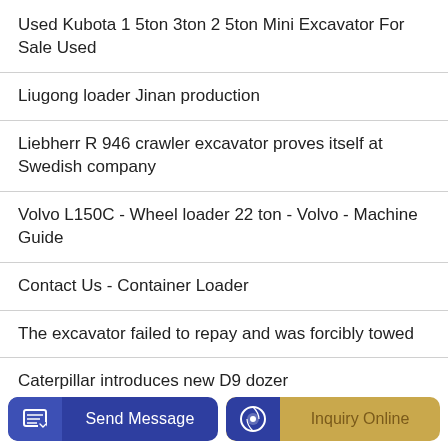Used Kubota 1 5ton 3ton 2 5ton Mini Excavator For Sale Used
Liugong loader Jinan production
Liebherr R 946 crawler excavator proves itself at Swedish company
Volvo L150C - Wheel loader 22 ton - Volvo - Machine Guide
Contact Us - Container Loader
The excavator failed to repay and was forcibly towed
Caterpillar introduces new D9 dozer
Send Message
Inquiry Online